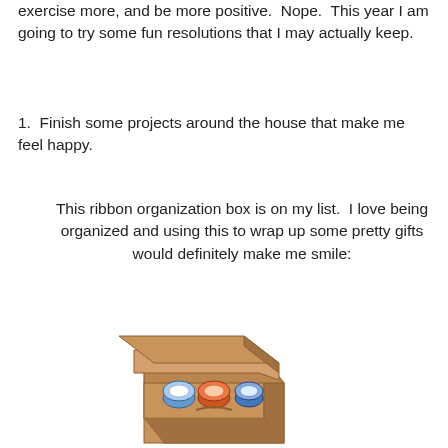exercise more, and be more positive.  Nope.  This year I am going to try some fun resolutions that I may actually keep.
1.  Finish some projects around the house that make me feel happy.
This ribbon organization box is on my list.  I love being organized and using this to wrap up some pretty gifts would definitely make me smile:
[Figure (photo): A brown cardboard box with a lid, containing several rolls of ribbon in blue, orange, and white colors, displayed on a white background.]